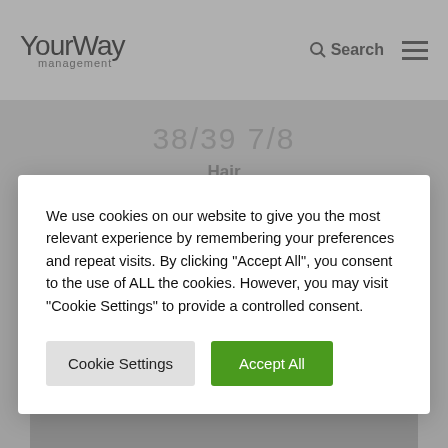YourWay management
38/39  7/8
Hair
We use cookies on our website to give you the most relevant experience by remembering your preferences and repeat visits. By clicking "Accept All", you consent to the use of ALL the cookies. However, you may visit "Cookie Settings" to provide a controlled consent.
Cookie Settings  Accept All
Mahogany / Brown